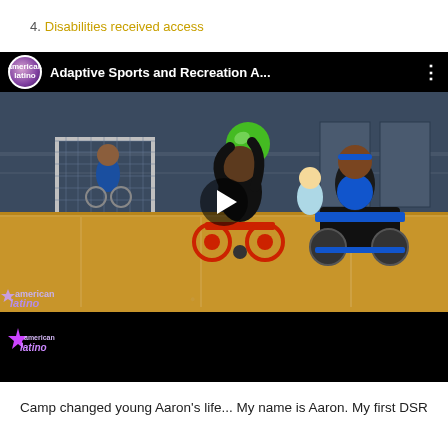4. Disabilities received access
[Figure (screenshot): YouTube video thumbnail showing children in wheelchairs playing with a green ball in a gym. The video title reads 'Adaptive Sports and Recreation A...' with the American Latino channel logo in the top-left corner. A play button is overlaid in the center.]
Camp changed young Aaron's life... My name is Aaron. My first DSR